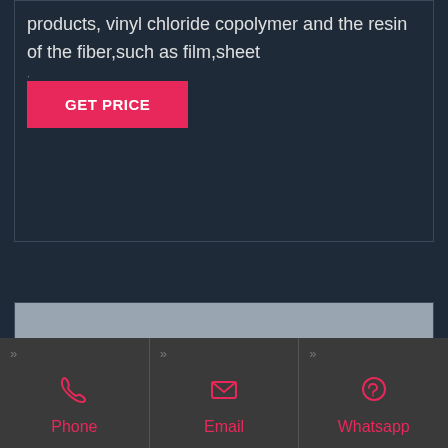products, vinyl chloride copolymer and the resin of the fiber,such as film,sheet
[Figure (other): Pink/red button labeled GET PRICE]
[Figure (photo): White powder substance in a glass bowl on a gray surface]
Phone
Email
Whatsapp